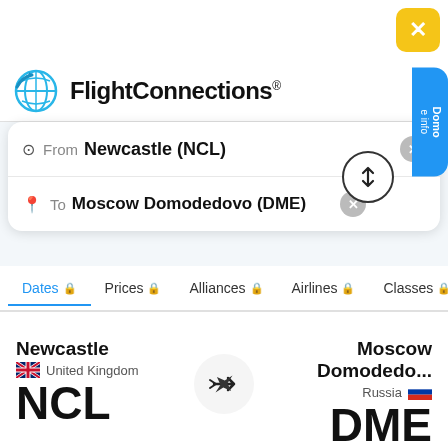[Figure (screenshot): Yellow X close button in top right corner]
[Figure (logo): FlightConnections globe logo with brand name]
[Figure (screenshot): Flight search panel with From: Newcastle (NCL) and To: Moscow Domodedovo (DME) fields, swap button, and filter tabs (Dates, Prices, Alliances, Airlines, Classes)]
Flights from Newcastle to Moscow Domodedovo
Did you mean flights from Moscow Domodedovo to Newcastle?
Last updated on: 09-06-2022
[Figure (infographic): Airport info row: Newcastle / United Kingdom / NCL (UK flag) with airplane icon in center and Moscow Domodedovo... / Russia / DME (Russian flag) on right]